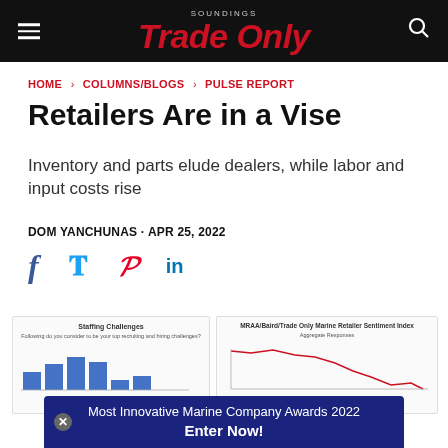Trade Only
HOME > COLUMNS/BLOGS > PULSE REPORT
Retailers Are in a Vise
Inventory and parts elude dealers, while labor and input costs rise
DOM YANCHUNAS · APR 25, 2022
[Figure (screenshot): Staffing Challenges chart thumbnail]
[Figure (screenshot): MRAA/Baird/Trade Only Marine Retailer Sentiment Index chart thumbnail]
Most Innovative Marine Company Awards 2022 Enter Now!